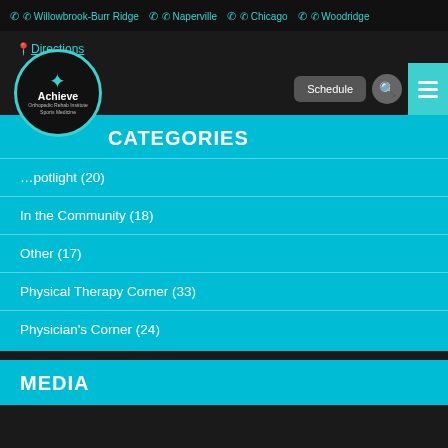✆ Willowbrook-Burr Ridge  ✆ Naperville  ✆ Chicago  ✆ Woodridge
📍 Directions
[Figure (logo): Achieve Orthopedic Rehab Institute Sports Medicine circular logo with teal border on black background, featuring stylized human figure in teal and white text]
Schedule
CATEGORIES
…potlight (20)
In the Community (18)
Other (17)
Physical Therapy Corner (33)
Physician's Corner (24)
MEDIA